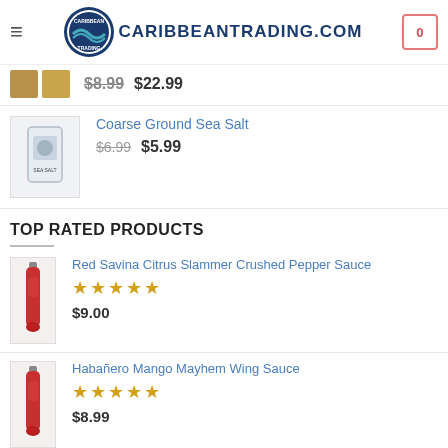CARIBBEANTRADING.COM
$8.99  $22.99
Coarse Ground Sea Salt — $6.99  $5.99
TOP RATED PRODUCTS
Red Savina Citrus Slammer Crushed Pepper Sauce — ★★★★★ — $9.00
Habañero Mango Mayhem Wing Sauce — ★★★★★ — $8.99